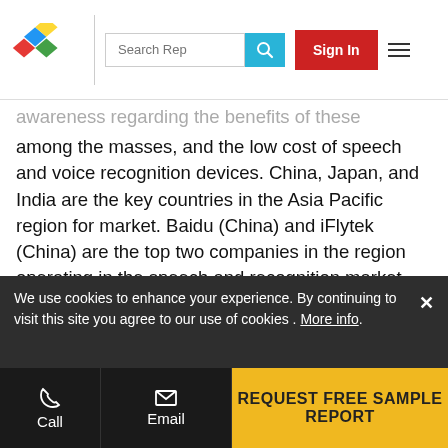Search Rep | Sign In
awareness regarding the benefits of these technologies among the masses, and the low cost of speech and voice recognition devices. China, Japan, and India are the key countries in the Asia Pacific region for market. Baidu (China) and iFlytek (China) are the top two companies in the region operating in the speech and recognition market. The surge in the adoption of voice assistant devices in China is the major reason for the market growth. The constant developments in healthcare and other applications will accelerate the demand for voice recognition technology-based products in the region. The market in India is expected to witness the highest growth during the forecast period.
We use cookies to enhance your experience. By continuing to visit this site you agree to our use of cookies . More info.
Call | Email | REQUEST FREE SAMPLE REPORT